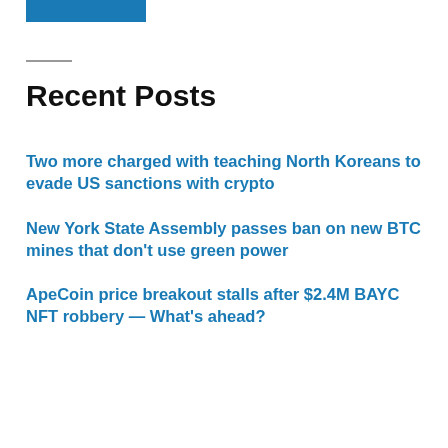[Figure (other): Blue rectangular button/bar at top left]
Recent Posts
Two more charged with teaching North Koreans to evade US sanctions with crypto
New York State Assembly passes ban on new BTC mines that don’t use green power
ApeCoin price breakout stalls after $2.4M BAYC NFT robbery — What’s ahead?